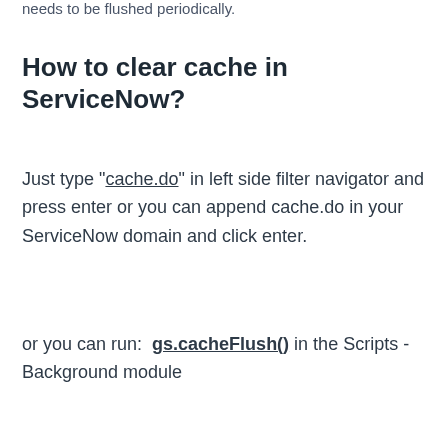needs to be flushed periodically.
How to clear cache in ServiceNow?
Just type "cache.do" in left side filter navigator and press enter or you can append cache.do in your ServiceNow domain and click enter.
or you can run:  gs.cacheFlush() in the Scripts - Background module